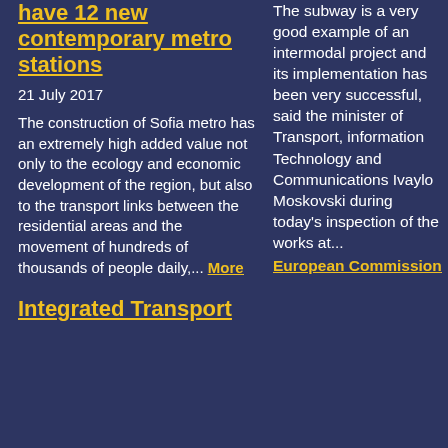have 12 new contemporary metro stations
21 July 2017
The construction of Sofia metro has an extremely high added value not only to the ecology and economic development of the region, but also to the transport links between the residential areas and the movement of hundreds of thousands of people daily,... More
Integrated Transport
The subway is a very good example of an intermodal project and its implementation has been very successful, said the minister of Transport, information Technology and Communications Ivaylo Moskovski during today's inspection of the works at... European Commission